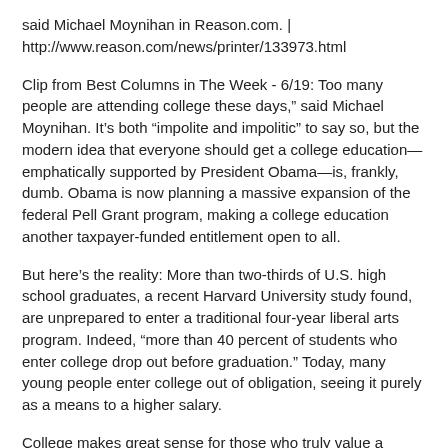said Michael Moynihan in Reason.com. | http://www.reason.com/news/printer/133973.html
Clip from Best Columns in The Week - 6/19: Too many people are attending college these days," said Michael Moynihan. It’s both “impolite and impolitic” to say so, but the modern idea that everyone should get a college education—emphatically supported by President Obama—is, frankly, dumb. Obama is now planning a massive expansion of the federal Pell Grant program, making a college education another taxpayer-funded entitlement open to all.
But here’s the reality: More than two-thirds of U.S. high school graduates, a recent Harvard University study found, are unprepared to enter a traditional four-year liberal arts program. Indeed, “more than 40 percent of students who enter college drop out before graduation.” Today, many young people enter college out of obligation, seeing it purely as a means to a higher salary.
College makes great sense for those who truly value a higher education, and will make use of it after graduation. But not everyone is capable of academic success, and fo